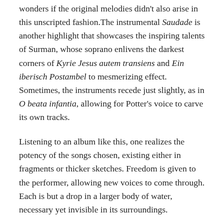wonders if the original melodies didn't also arise in this unscripted fashion. The instrumental Saudade is another highlight that showcases the inspiring talents of Surman, whose soprano enlivens the darkest corners of Kyrie Jesus autem transiens and Ein iberisch Postambel to mesmerizing effect. Sometimes, the instruments recede just slightly, as in O beata infantia, allowing for Potter's voice to carve its own tracks.
Listening to an album like this, one realizes the potency of the songs chosen, existing either in fragments or thicker sketches. Freedom is given to the performer, allowing new voices to come through. Each is but a drop in a larger body of water, necessary yet invisible in its surroundings.
SHARE THIS